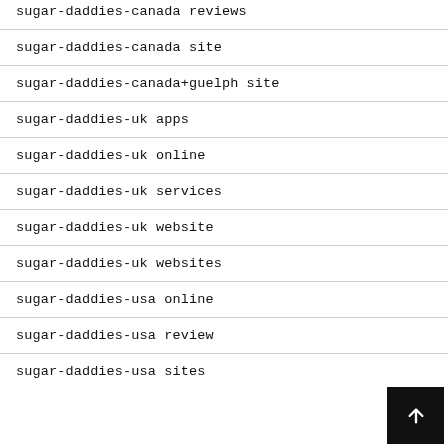sugar-daddies-canada reviews
sugar-daddies-canada site
sugar-daddies-canada+guelph site
sugar-daddies-uk apps
sugar-daddies-uk online
sugar-daddies-uk services
sugar-daddies-uk website
sugar-daddies-uk websites
sugar-daddies-usa online
sugar-daddies-usa review
sugar-daddies-usa sites